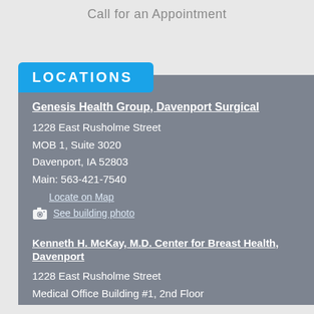Call for an Appointment
LOCATIONS
Genesis Health Group, Davenport Surgical
1228 East Rusholme Street
MOB 1, Suite 3020
Davenport, IA 52803
Main: 563-421-7540
Locate on Map
See building photo
Kenneth H. McKay, M.D. Center for Breast Health, Davenport
1228 East Rusholme Street
Medical Office Building #1, 2nd Floor